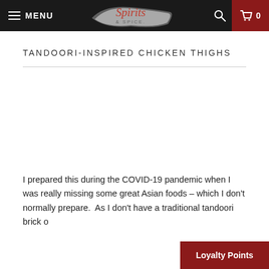MENU | Spirits & Spice | 🔍 | 🛒 0
TANDOORI-INSPIRED CHICKEN THIGHS
[Figure (photo): Image area for tandoori-inspired chicken thighs food photo (appears blank/not loaded in this view)]
I prepared this during the COVID-19 pandemic when I was really missing some great Asian foods – which I don't normally prepare.  As I don't have a traditional tandoori brick o… [continues below]